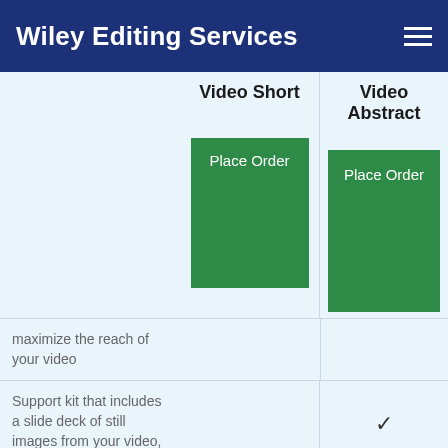Wiley Editing Services
|  | Video Short | Video Abstract |
| --- | --- | --- |
|  | Place Order | Place Order |
| maximize the reach of your video |  |  |
| Support kit that includes a slide deck of still images from your video, the video script, and the video audio file |  | ✓ |